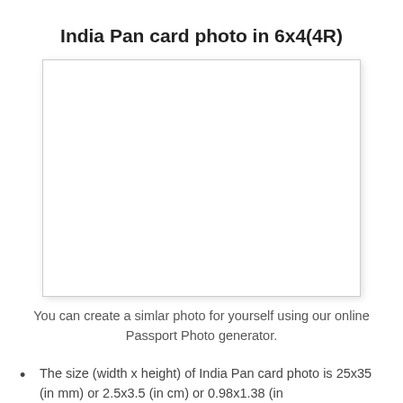India Pan card photo in 6x4(4R)
[Figure (photo): White blank photo placeholder box representing an India Pan card photo in 6x4(4R) format]
You can create a simlar photo for yourself using our online Passport Photo generator.
The size (width x height) of India Pan card photo is 25x35 (in mm) or 2.5x3.5 (in cm) or 0.98x1.38 (in